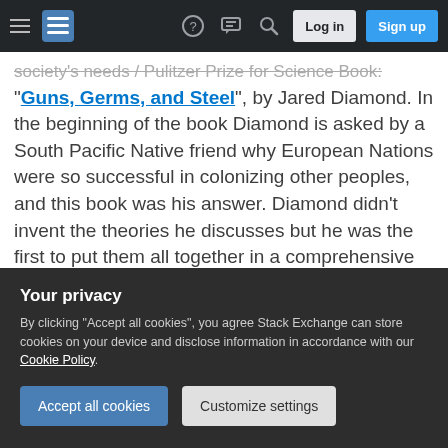Stack Exchange navigation bar with hamburger menu, logo, help, chat, search icons, Log in and Sign up buttons
"Guns, Germs, and Steel", by Jared Diamond. In the beginning of the book Diamond is asked by a South Pacific Native friend why European Nations were so successful in colonizing other peoples, and this book was his answer. Diamond didn't invent the theories he discusses but he was the first to put them all together in a comprehensive fashion and explains them well.
For a non trivial review of Hawaii specifically I would recommend James A. Michener historical fiction
Your privacy
By clicking "Accept all cookies", you agree Stack Exchange can store cookies on your device and disclose information in accordance with our Cookie Policy.
Accept all cookies   Customize settings